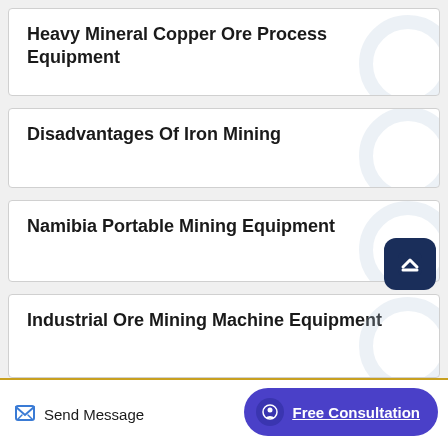Heavy Mineral Copper Ore Process Equipment
Disadvantages Of Iron Mining
Namibia Portable Mining Equipment
Industrial Ore Mining Machine Equipment
Send Message
Free Consultation